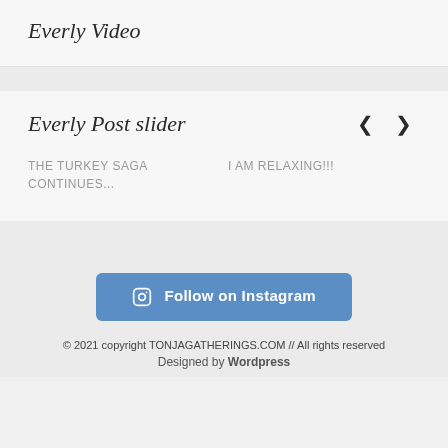Everly Video
Everly Post slider
THE TURKEY SAGA CONTINUES...
I AM RELAXING!!!
[Figure (other): Follow on Instagram button with Instagram icon]
© 2021 copyright TONJAGATHERINGS.COM // All rights reserved
Designed by Wordpress